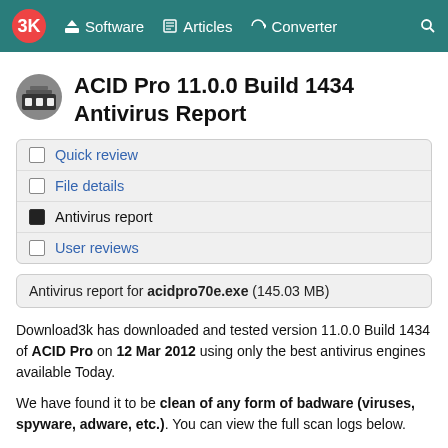3K  Software  Articles  Converter  Search
ACID Pro 11.0.0 Build 1434 Antivirus Report
Quick review
File details
Antivirus report
User reviews
Antivirus report for acidpro70e.exe (145.03 MB)
Download3k has downloaded and tested version 11.0.0 Build 1434 of ACID Pro on 12 Mar 2012 using only the best antivirus engines available Today.
We have found it to be clean of any form of badware (viruses, spyware, adware, etc.). You can view the full scan logs below.
We will test ACID Pro again on the next version release so make